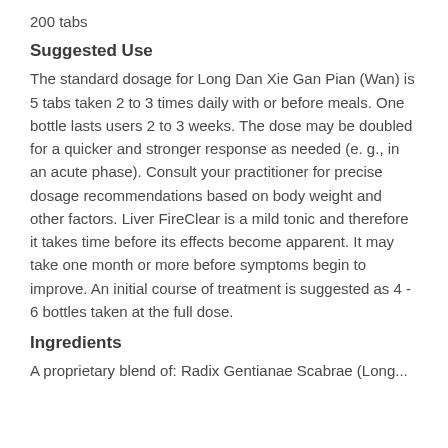200 tabs
Suggested Use
The standard dosage for Long Dan Xie Gan Pian (Wan) is 5 tabs taken 2 to 3 times daily with or before meals. One bottle lasts users 2 to 3 weeks. The dose may be doubled for a quicker and stronger response as needed (e. g., in an acute phase). Consult your practitioner for precise dosage recommendations based on body weight and other factors. Liver FireClear is a mild tonic and therefore it takes time before its effects become apparent. It may take one month or more before symptoms begin to improve. An initial course of treatment is suggested as 4 - 6 bottles taken at the full dose.
Ingredients
A proprietary blend of: Radix Gentianae Scabrae (Long...